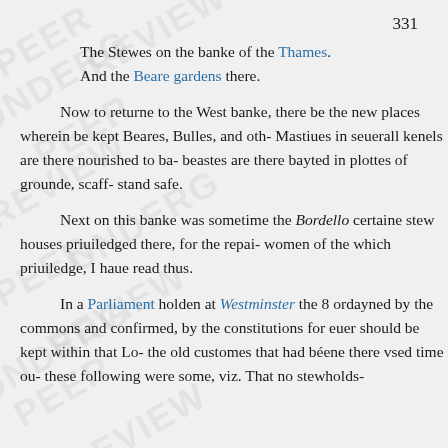331
The Stewes on the banke of the Thames.
And the Beare gardens there.
Now to returne to the West banke, there be the new places wherein be kept Beares, Bulles, and oth- Mastiues in seuerall kenels are there nourished to ba- beastes are there bayted in plottes of grounde, scaff- stand safe.
Next on this banke was sometime the Bordello certaine stew houses priuiledged there, for the repai- women of the which priuiledge, I haue read thus.
In a Parliament holden at Westminster the 8 ordayned by the commons and confirmed, by the constitutions for euer should be kept within that Lo- the old customes that had béene there vsed time ou- these following were some, viz. That no stewholds-